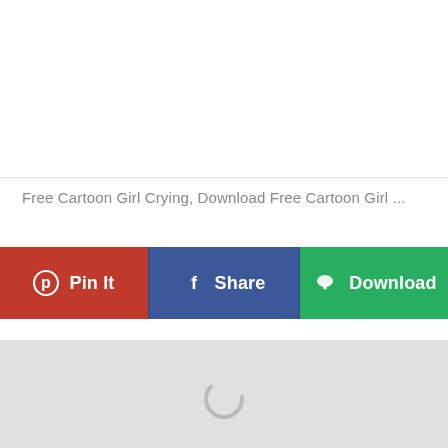[Figure (other): White empty image area at top of page]
Free Cartoon Girl Crying, Download Free Cartoon Girl ...
[Figure (other): Three action buttons: Pin It (red), Share (blue), Download (green)]
[Figure (other): Light gray image loading area with a circular loading spinner in center]